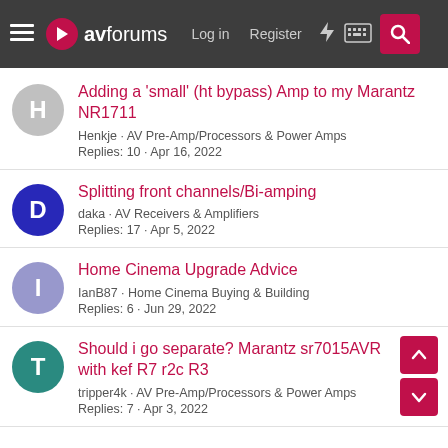avforums — Log in · Register
Adding a 'small' (ht bypass) Amp to my Marantz NR1711
Henkje · AV Pre-Amp/Processors & Power Amps
Replies: 10 · Apr 16, 2022
Splitting front channels/Bi-amping
daka · AV Receivers & Amplifiers
Replies: 17 · Apr 5, 2022
Home Cinema Upgrade Advice
IanB87 · Home Cinema Buying & Building
Replies: 6 · Jun 29, 2022
Should i go separate? Marantz sr7015AVR with kef R7 r2c R3
tripper4k · AV Pre-Amp/Processors & Power Amps
Replies: 7 · Apr 3, 2022